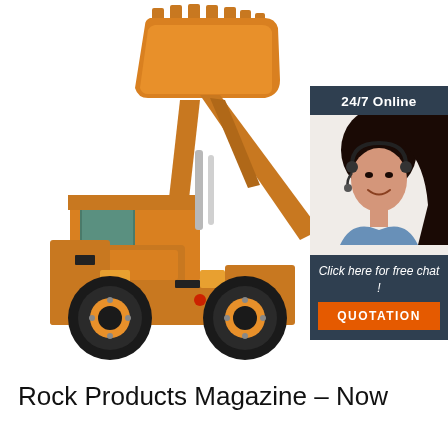[Figure (photo): Orange front-end wheel loader with raised bucket against white background, and a customer support chat widget on the right showing a woman with a headset, '24/7 Online' banner, 'Click here for free chat!' text, and an orange 'QUOTATION' button.]
Rock Products Magazine – Now